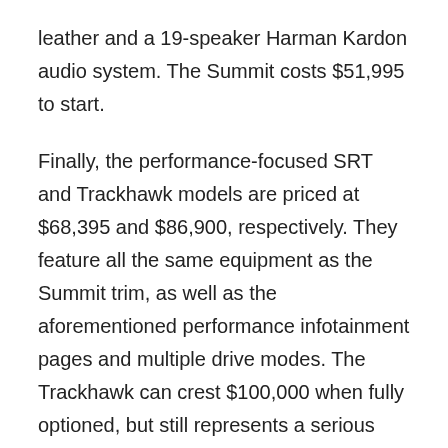leather and a 19-speaker Harman Kardon audio system. The Summit costs $51,995 to start.
Finally, the performance-focused SRT and Trackhawk models are priced at $68,395 and $86,900, respectively. They feature all the same equipment as the Summit trim, as well as the aforementioned performance infotainment pages and multiple drive modes. The Trackhawk can crest $100,000 when fully optioned, but still represents a serious bargain over high-performance SUVs costing twice as much.
Availability